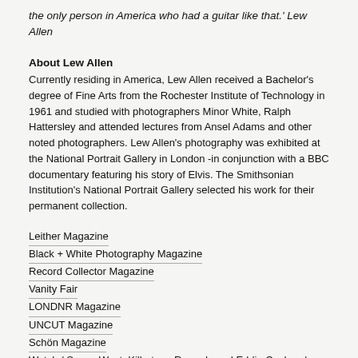the only person in America who had a guitar like that.' Lew Allen
About Lew Allen
Currently residing in America, Lew Allen received a Bachelor's degree of Fine Arts from the Rochester Institute of Technology in 1961 and studied with photographers Minor White, Ralph Hattersley and attended lectures from Ansel Adams and other noted photographers. Lew Allen's photography was exhibited at the National Portrait Gallery in London -in conjunction with a BBC documentary featuring his story of Elvis. The Smithsonian Institution's National Portrait Gallery selected his work for their permanent collection.
Leither Magazine
Black + White Photography Magazine
Record Collector Magazine
Vanity Fair
LONDNR Magazine
UNCUT Magazine
Schön Magazine
Watch / Sonny West, Killertone Records and Eddie Cochran's